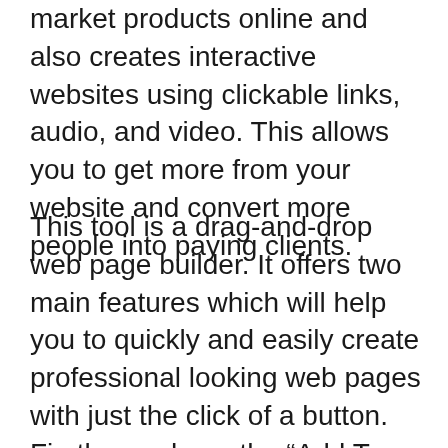market products online and also creates interactive websites using clickable links, audio, and video. This allows you to get more from your website and convert more people into paying clients.
This tool is a drag-and-drop web page builder. It offers two main features which will help you to quickly and easily create professional looking web pages with just the click of a button. Firstly, you have the “Add To Cart” button, which is where you would add any additional products you are looking to sell. Then, you have the “Remove From Cart” button where you would remove any items you are not selling. This makes using